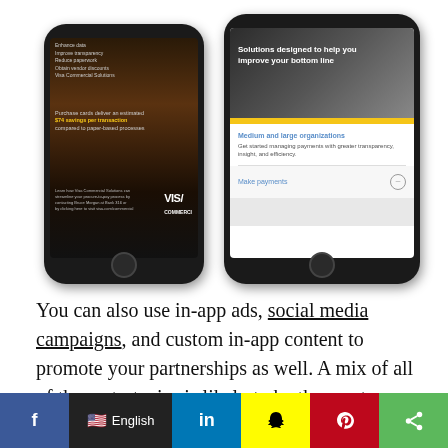[Figure (screenshot): Two smartphones showing Visa Commercial Solutions mobile app screens. Left phone shows a dark-themed app with golden text highlighting '$74 savings per transaction compared to paper-based processes'. Right phone shows a white-themed screen with yellow accent bar, text 'Solutions designed to help you improve your bottom line', 'Medium and large organizations - Get started managing payments with greater transparency, insight, and efficiency', and a 'Make payments' button.]
You can also use in-app ads, social media campaigns, and custom in-app content to promote your partnerships as well. A mix of all of these strategies is likely to be the most effective.
6. In-App
[Figure (screenshot): Social media sharing bar at bottom with Facebook, English language selector, LinkedIn, Snapchat, Pinterest, and Share buttons.]